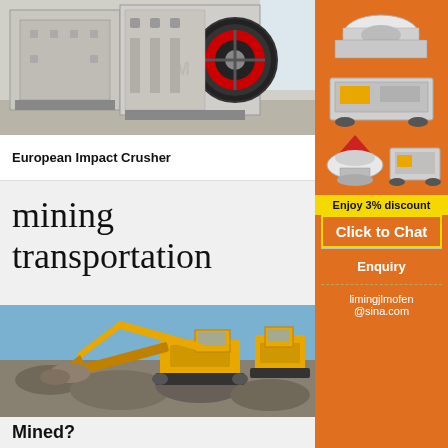[Figure (photo): European Impact Crusher machine, large industrial white crusher with red flywheel, shown in factory/warehouse setting]
European Impact Crusher
mining transportation world
[Figure (photo): Yellow mining excavator and conveyor on rocky terrain, outdoor mining site]
Mined?
[Figure (illustration): Sidebar showing orange background with images of mining/crushing equipment machines stacked vertically]
Enjoy 3% discount
Click to Chat
Enquiry
limingjlmofen@sina.com